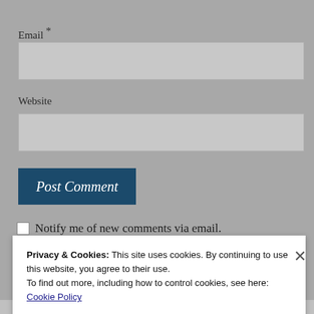Email *
Website
Post Comment
Notify me of new comments via email.
Privacy & Cookies: This site uses cookies. By continuing to use this website, you agree to their use.
To find out more, including how to control cookies, see here: Cookie Policy
Close and accept